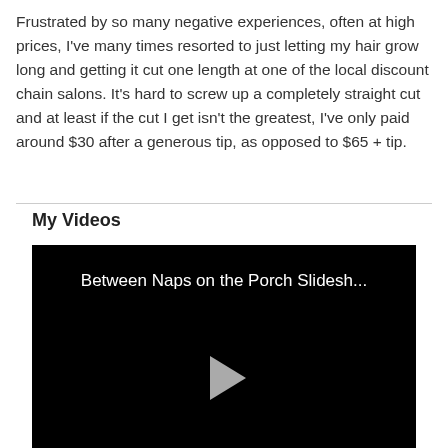Frustrated by so many negative experiences, often at high prices, I've many times resorted to just letting my hair grow long and getting it cut one length at one of the local discount chain salons. It's hard to screw up a completely straight cut and at least if the cut I get isn't the greatest, I've only paid around $30 after a generous tip, as opposed to $65 + tip.
My Videos
[Figure (screenshot): Video player with black background showing title 'Between Naps on the Porch Slidesh...' and a play button in the center.]